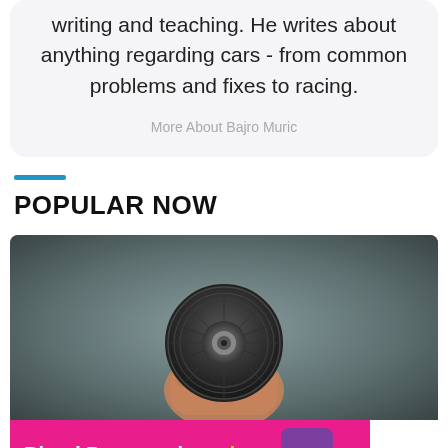writing and teaching. He writes about anything regarding cars - from common problems and fixes to racing.
More About Bajro Muric
POPULAR NOW
[Figure (photo): A hand holding a belt tensioner pulley against a blurred garage background]
[Figure (infographic): Advertisement banner: Blood Pressure is serious with a purple heart logo, and an ad platform logo on the right]